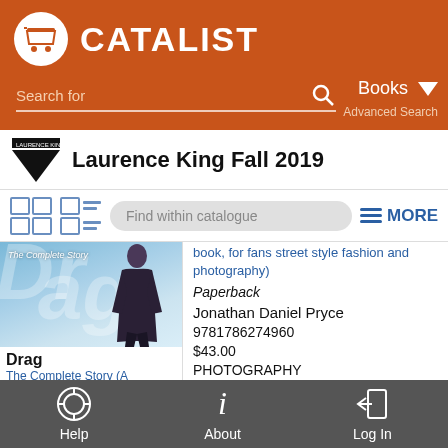CATALIST
Search for | Books | Advanced Search
Laurence King Fall 2019
Find within catalogue | MORE
[Figure (photo): Book cover for Drag: The Complete Story showing a person in dramatic fashion pose against light blue background with large stylized text]
book, for fans street style fashion and photography)
Paperback
Jonathan Daniel Pryce
9781786274960
$43.00
PHOTOGRAPHY
Sep 03, 2019
Drag
The Complete Story (A
Help | About | Log In